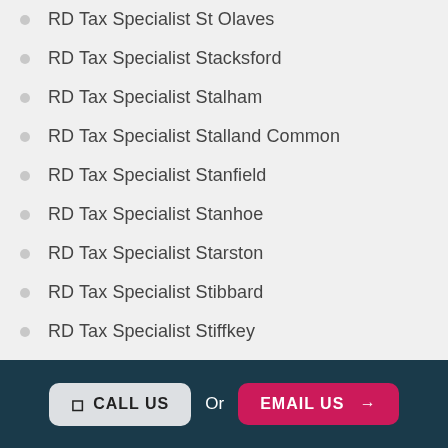RD Tax Specialist St Olaves
RD Tax Specialist Stacksford
RD Tax Specialist Stalham
RD Tax Specialist Stalland Common
RD Tax Specialist Stanfield
RD Tax Specialist Stanhoe
RD Tax Specialist Starston
RD Tax Specialist Stibbard
RD Tax Specialist Stiffkey
RD Tax Specialist Stody
CALL US  Or  EMAIL US →